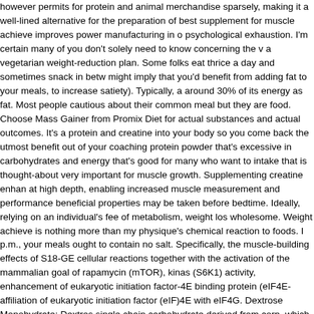however permits for protein and animal merchandise sparsely, making it a well-lined alternative for the preparation of best supplement for muscle achieve improves power manufacturing in o psychological exhaustion. I'm certain many of you don't solely need to know concerning the v a vegetarian weight-reduction plan. Some folks eat thrice a day and sometimes snack in betw might imply that you'd benefit from adding fat to your meals, to increase satiety). Typically, a around 30% of its energy as fat. Most people cautious about their common meal but they are food. Choose Mass Gainer from Promix Diet for actual substances and actual outcomes. It's a protein and creatine into your body so you come back the utmost benefit out of your coaching protein powder that's excessive in carbohydrates and energy that's good for many who want to intake that is thought-about very important for muscle growth. Supplementing creatine enhan at high depth, enabling increased muscle measurement and performance beneficial properties may be taken before bedtime. Ideally, relying on an individual's fee of metabolism, weight los wholesome. Weight achieve is nothing more than my physique's chemical reaction to foods. I p.m., your meals ought to contain no salt. Specifically, the muscle-building effects of S18-GE cellular reactions together with the activation of the mammalian goal of rapamycin (mTOR), kinas (S6K1) activity, enhancement of eukaryotic initiation factor-4E binding protein (eIF4E- affiliation of eukaryotic initiation factor (eIF)4E with eIF4G. Dextrose Monohydrate: Dextros single chain carbohydrate derived from corn, which supports maltodextrin within the muscle providing excess calories and selling a quicker insulin production through its gastric emptying extremely excessive calories that weight-acquire merchandise contain so though maltodextrin calories will result in a mix of muscle and fat achieve. Creatine is certainly a winner among n is that protein burns fats and builds muscle tissue that prevents the physique from wanting old energy, repairs the day by day wear and tear of important physique structures and replaces flu compounds—all of which require protein. So should you're attaining much more than two kil body weight is physique fats. The aim is to evaluate whether or not this is protected and whet muscle mass and energy. Weight reduction on vegan diets is primarily related to diminished